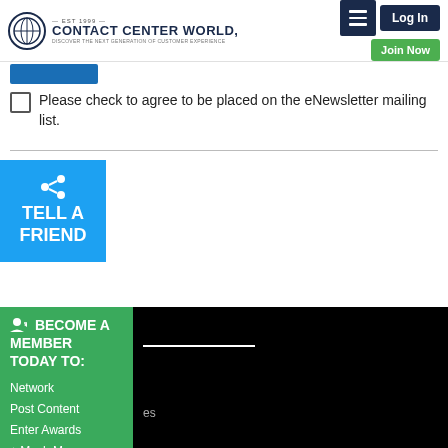Contact Center World — EST 1999 — Discover The Next Generation Of Customer Experience — Log In — Join Now
[Figure (screenshot): Blue button stub (partially cropped) at top of content area]
Please check to agree to be placed on the eNewsletter mailing list.
[Figure (infographic): Tell A Friend button in blue with share icon]
[Figure (infographic): Become A Member Today To: Network, Post Content, Enter Awards, + Much More — green sidebar panel]
[Figure (screenshot): Black video/media panel on right side of become a member section]